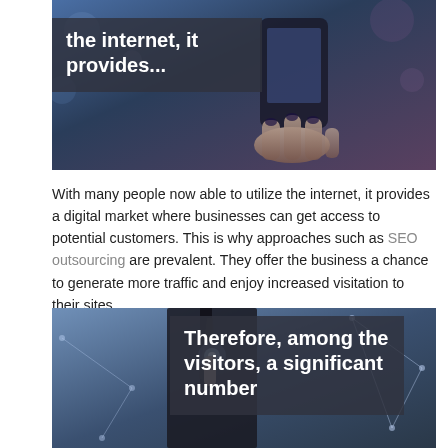[Figure (photo): Photo of hands holding a smartphone, with a semi-transparent dark overlay text box showing 'the internet, it provides...']
With many people now able to utilize the internet, it provides a digital market where businesses can get access to potential customers. This is why approaches such as SEO outsourcing are prevalent. They offer the business a chance to generate more traffic and enjoy increased visitation to their sites.
[Figure (photo): Photo of a businessman in a suit touching a glowing digital button, with a network/tech overlay, and a semi-transparent dark text box showing 'Therefore, among the visitors, a significant number']